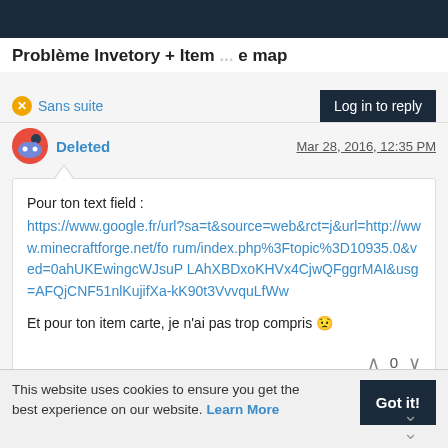Problème Invetory + Item ... e map
Sans suite
Log in to reply
Deleted
Mar 28, 2016, 12:35 PM
Pour ton text field :
https://www.google.fr/url?sa=t&source=web&rct=j&url=http://www.minecraftforge.net/forum/index.php%3Ftopic%3D10935.0&ved=0ahUKEwingcWJsuPLAhXBDxoKHVx4CjwQFggrMAI&usg=AFQjCNF51nlKujifXa-kK90t3VvvquLfWw

Et pour ton item carte, je n’ai pas trop compris 😟
0
This website uses cookies to ensure you get the best experience on our website. Learn More
Got it!
pn1879
Mar 28, 2016, 1...